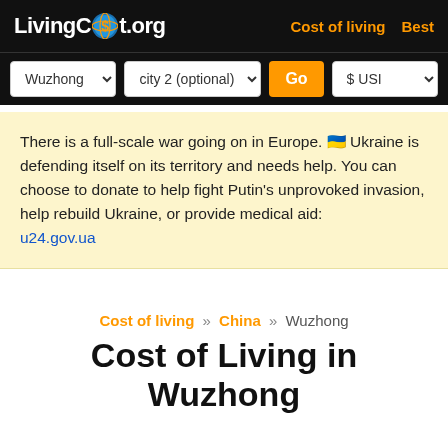LivingCost.org  Cost of living  Best
There is a full-scale war going on in Europe. 🇺🇦 Ukraine is defending itself on its territory and needs help. You can choose to donate to help fight Putin's unprovoked invasion, help rebuild Ukraine, or provide medical aid: u24.gov.ua
Cost of living » China » Wuzhong
Cost of Living in Wuzhong